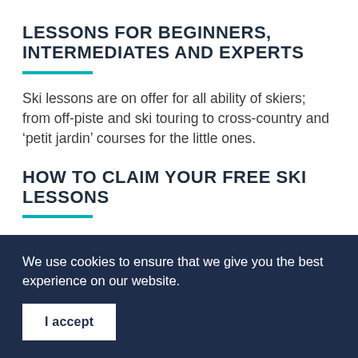LESSONS FOR BEGINNERS, INTERMEDIATES AND EXPERTS
Ski lessons are on offer for all ability of skiers; from off-piste and ski touring to cross-country and ‘petit jardin’ courses for the little ones.
HOW TO CLAIM YOUR FREE SKI LESSONS
You can book your lessons with any of the official ski school partners with proof of your
We use cookies to ensure that we give you the best experience on our website.
I accept